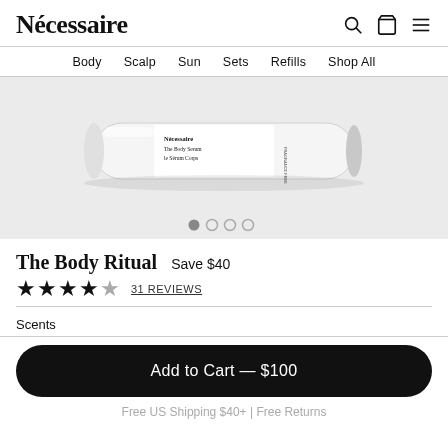Nécessaire
Body  Scalp  Sun  Sets  Refills  Shop All
[Figure (photo): A white cylindrical product bottle labeled 'Nécessaire The Body Serum le Sérum Corps' lying on its side against a light grey background. Carousel with 4 dots, first dot active.]
The Body Ritual  Save $40
★★★★★  31 REVIEWS
Scents
Add to Cart — $100
Free US Shipping $40+ | Free Returns